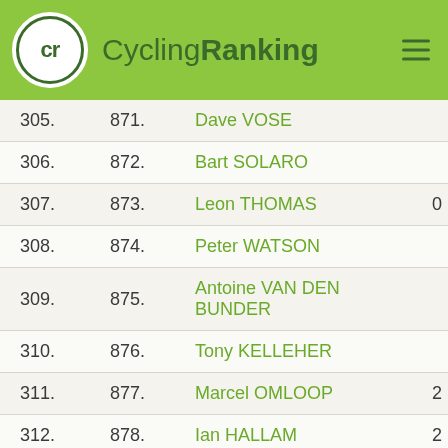CyclingRanking
| Rank | Overall | Name | Score |
| --- | --- | --- | --- |
| 305. | 871. | Dave VOSE |  |
| 306. | 872. | Bart SOLARO |  |
| 307. | 873. | Leon THOMAS | 0 |
| 308. | 874. | Peter WATSON |  |
| 309. | 875. | Antoine VAN DEN BUNDER |  |
| 310. | 876. | Tony KELLEHER |  |
| 311. | 877. | Marcel OMLOOP | 2 |
| 312. | 878. | Ian HALLAM | 2 |
| 313. | 879. | Milo COOLS | 0 |
| 314. | 880. | Serge DEL AMORE |  |
| 315. | 881. | Wim LIEBRECHTS | 2 |